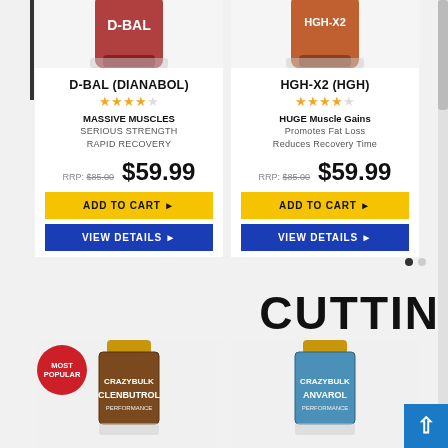[Figure (illustration): Product bottle image - D-BAL (red/brown bottle, partially cropped at top)]
D-BAL (DIANABOL)
★★★★ (4 stars)
MASSIVE MUSCLES
SERIOUS STRENGTH
RAPID RECOVERY
RRP: $85.00   $59.99
ADD TO CART ▶
VIEW DETAILS ▶
[Figure (illustration): Product bottle image - HGH-X2 (orange/brown bottle, partially cropped at top)]
HGH-X2 (HGH)
★★★★ (4 stars)
HUGE Muscle Gains
Promotes Fat Loss
Reduces Recovery Time
RRP: $85.00   $59.99
ADD TO CART ▶
VIEW DETAILS ▶
CUTTI
[Figure (illustration): CLENBUTROL supplement bottle (brown label, gold cap) with MOST POPULAR badge]
CLENBUTROL (CLENBUTEROL)
★★★★ (4 stars)
POWERFUL Fat Burning
Improves Performance
Retains Lean Muscle
[Figure (illustration): ANVAROL supplement bottle (blue label, gold cap)]
ANVAROL (ANAVAR)
★★★★ (4 stars)
Promotes FAST Fat Loss
Boosts Energy Levels
Retains Lean Muscle